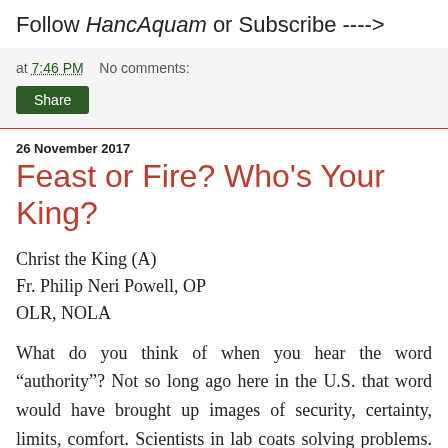Follow HancAquam or Subscribe ----->
at 7:46 PM   No comments:
Share
26 November 2017
Feast or Fire? Who's Your King?
Christ the King (A)
Fr. Philip Neri Powell, OP
OLR, NOLA
What do you think of when you hear the word “authority”? Not so long ago here in the U.S. that word would have brought up images of security, certainty, limits, comfort. Scientists in lab coats solving problems. Military personnel defending our nation’s security. Police officers